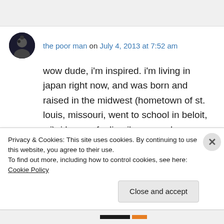the poor man on July 4, 2013 at 7:52 am
wow dude, i'm inspired. i'm living in japan right now, and was born and raised in the midwest (hometown of st. louis, missouri, went to school in beloit, wi). i have a feeling i'm gonna be reading your blog a lot in the near future…
keep up the awesome work, loving your posts so far
Privacy & Cookies: This site uses cookies. By continuing to use this website, you agree to their use.
To find out more, including how to control cookies, see here: Cookie Policy
Close and accept